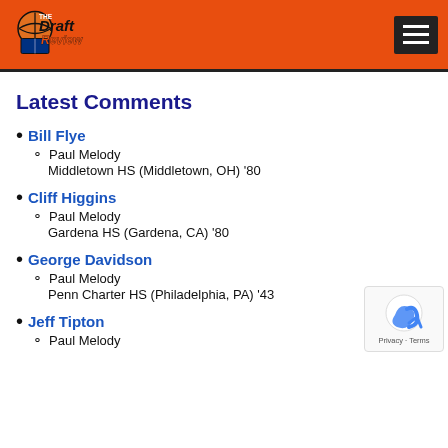The Draft Review
Latest Comments
Bill Flye
Paul Melody
Middletown HS (Middletown, OH) '80
Cliff Higgins
Paul Melody
Gardena HS (Gardena, CA) '80
George Davidson
Paul Melody
Penn Charter HS (Philadelphia, PA) '43
Jeff Tipton
Paul Melody
[truncated]